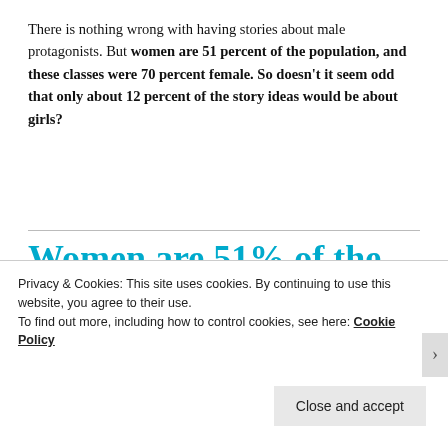There is nothing wrong with having stories about male protagonists. But women are 51 percent of the population, and these classes were 70 percent female. So doesn't it seem odd that only about 12 percent of the story ideas would be about girls?
Women are 51% of the population, and these classes were 70% female.
Privacy & Cookies: This site uses cookies. By continuing to use this website, you agree to their use.
To find out more, including how to control cookies, see here: Cookie Policy